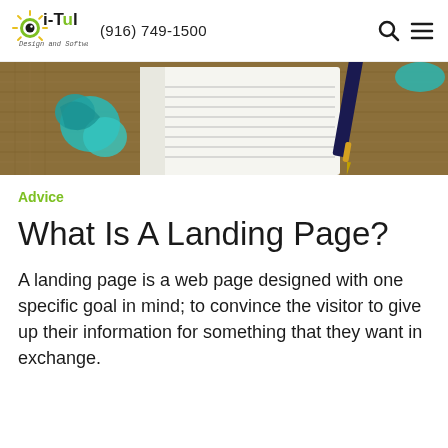i-Tul Design and Software (916) 749-1500
[Figure (photo): Close-up photo of a notebook with a pen and crumpled teal/turquoise paper on a burlap background]
Advice
What Is A Landing Page?
A landing page is a web page designed with one specific goal in mind; to convince the visitor to give up their information for something that they want in exchange.